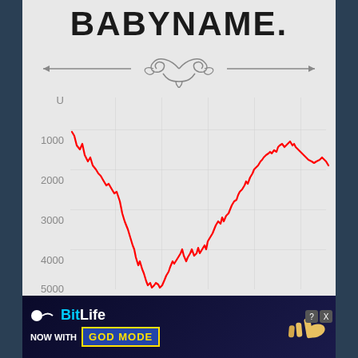BABYNAME.
[Figure (continuous-plot): Decorative horizontal divider with ornamental scrollwork design and arrows on both ends]
[Figure (line-chart): Line chart showing baby name popularity rank over time from 1880 to 2000. Y-axis shows rank from U (top) to 5000 (bottom, inverted scale). Red line starts around rank 900 in 1880, declines (rank worsens) to around rank 5000 near 1940, then improves back to around rank 900 by 1985, then slightly worsens to around rank 1500 by 2000.]
[Figure (screenshot): Advertisement banner for BitLife with 'NOW WITH GOD MODE' text, Close X button, help and close icons]